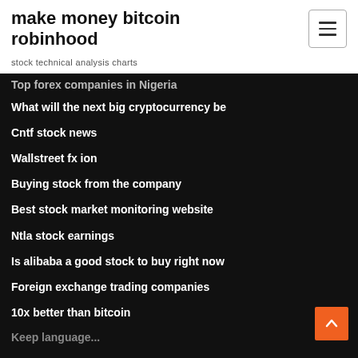make money bitcoin robinhood
stock technical analysis charts
Top forex companies in Nigeria
What will the next big cryptocurrency be
Cntf stock news
Wallstreet fx ion
Buying stock from the company
Best stock market monitoring website
Ntla stock earnings
Is alibaba a good stock to buy right now
Foreign exchange trading companies
10x better than bitcoin
Keep language...